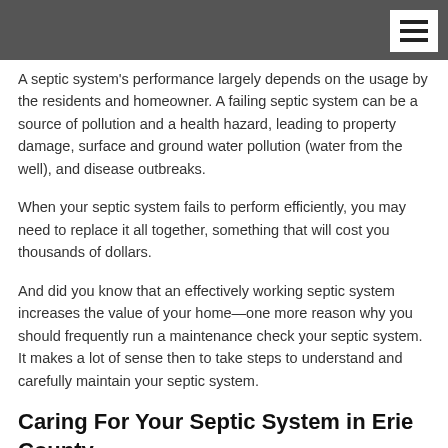A septic system's performance largely depends on the usage by the residents and homeowner. A failing septic system can be a source of pollution and a health hazard, leading to property damage, surface and ground water pollution (water from the well), and disease outbreaks.
When your septic system fails to perform efficiently, you may need to replace it all together, something that will cost you thousands of dollars.
And did you know that an effectively working septic system increases the value of your home—one more reason why you should frequently run a maintenance check your septic system. It makes a lot of sense then to take steps to understand and carefully maintain your septic system.
Caring For Your Septic System in Erie County
Septic tank maintenance is not complicated, neither should it be expensive. However, homeowners and residents of Erie